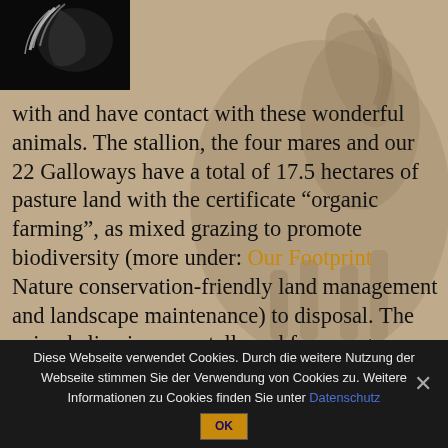[Figure (photo): Small black background photo thumbnail in top-left corner showing a partial horse image]
with and have contact with these wonderful animals. The stallion, the four mares and our 22 Galloways have a total of 17.5 hectares of pasture land with the certificate “organic farming”, as mixed grazing to promote biodiversity (more under: Our Footprint  Nature conservation-friendly land management and landscape maintenance) to disposal. The animals live in open stalls and free-range husbandry. There are 6 open stables with forest and some natural streams. On our property, the horses have a natural and optimal training
Diese Webseite verwendet Cookies. Durch die weitere Nutzung der Webseite stimmen Sie der Verwendung von Cookies zu. Weitere Informationen zu Cookies finden Sie unter Datenschutz
OK